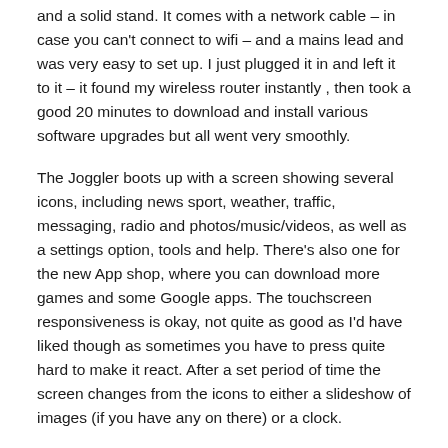and a solid stand. It comes with a network cable – in case you can't connect to wifi – and a mains lead and was very easy to set up. I just plugged it in and left it to it – it found my wireless router instantly , then took a good 20 minutes to download and install various software upgrades but all went very smoothly.
The Joggler boots up with a screen showing several icons, including news sport, weather, traffic, messaging, radio and photos/music/videos, as well as a settings option, tools and help. There's also one for the new App shop, where you can download more games and some Google apps. The touchscreen responsiveness is okay, not quite as good as I'd have liked though as sometimes you have to press quite hard to make it react. After a set period of time the screen changes from the icons to either a slideshow of images (if you have any on there) or a clock.
The first thing I really like about the Joggler is the internet radio.  There are (apparently) 100 stations on there, including all the BBC nationals, several BBC locals and a good mix of